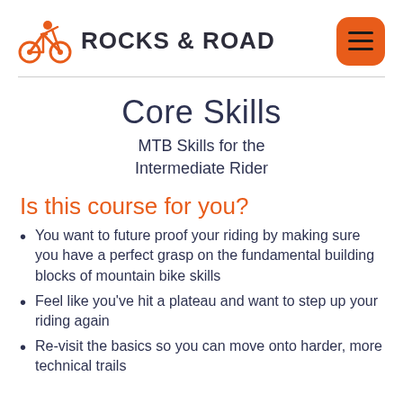[Figure (logo): Rocks & Road bicycle logo with orange cyclist icon and bold dark text 'ROCKS & ROAD']
Core Skills
MTB Skills for the Intermediate Rider
Is this course for you?
You want to future proof your riding by making sure you have a perfect grasp on the fundamental building blocks of mountain bike skills
Feel like you've hit a plateau and want to step up your riding again
Re-visit the basics so you can move onto harder, more technical trails